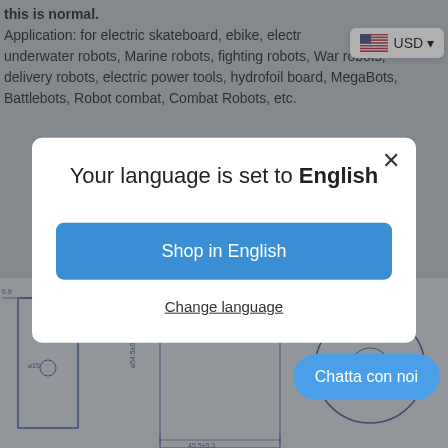this is normal. Application: for electric skateboard, ebike, electr... underwater robots, Marine robots, fighting robots, War robots, delivery robots, electric power tools, hydrofoil board, MegaBots, Battlebots, Robot combat, Combat Robots, etc.
[Figure (screenshot): USD currency selector button with US flag icon in top right corner]
[Figure (screenshot): Language selection modal dialog: 'Your language is set to English' with 'Shop in English' blue button and 'Change language' link]
[Figure (engineering-diagram): Technical engineering diagram of a motor/mechanical component with dimensions: 6.9, 4-M, 30, 20, 45.5±0.3, Ø15, Ø54.5±0.1, Ø8, Ø30]
[Figure (screenshot): Blue oval chat button labeled 'Chatta con noi']